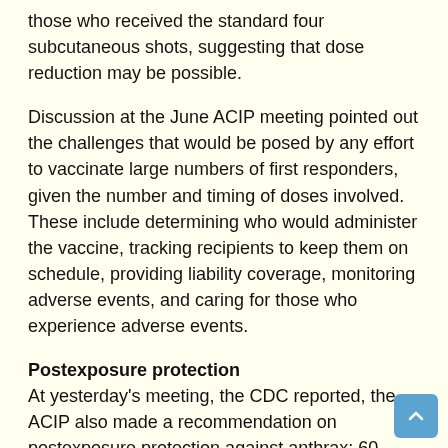those who received the standard four subcutaneous shots, suggesting that dose reduction may be possible.
Discussion at the June ACIP meeting pointed out the challenges that would be posed by any effort to vaccinate large numbers of first responders, given the number and timing of doses involved. These include determining who would administer the vaccine, tracking recipients to keep them on schedule, providing liability coverage, monitoring adverse events, and caring for those who experience adverse events.
Postexposure protection
At yesterday's meeting, the CDC reported, the ACIP also made a recommendation on postexposure protection against anthrax: 60 days of antimicrobial treatment in combination with three doses of vaccine. Vaccine should be offered within 10 days of exposure.